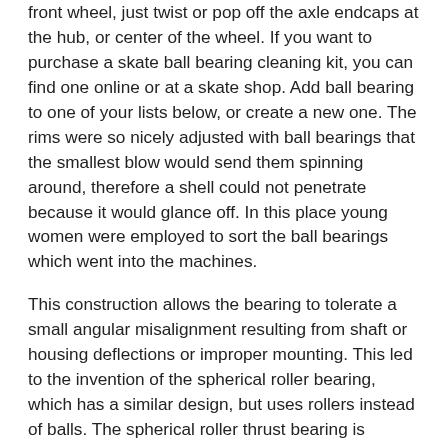front wheel, just twist or pop off the axle endcaps at the hub, or center of the wheel. If you want to purchase a skate ball bearing cleaning kit, you can find one online or at a skate shop. Add ball bearing to one of your lists below, or create a new one. The rims were so nicely adjusted with ball bearings that the smallest blow would send them spinning around, therefore a shell could not penetrate because it would glance off. In this place young women were employed to sort the ball bearings which went into the machines.
This construction allows the bearing to tolerate a small angular misalignment resulting from shaft or housing deflections or improper mounting. This led to the invention of the spherical roller bearing, which has a similar design, but uses rollers instead of balls. The spherical roller thrust bearing is another invention that derives from the findings by Wingquist. In a deep-groove radial bearing, the race dimensions are close to the dimensions of the balls that run in it. Deep-groove bearings support higher loads than a